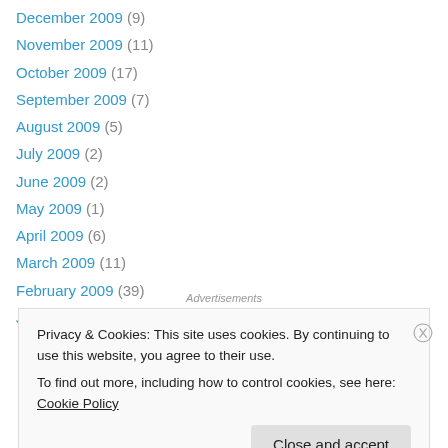December 2009 (9)
November 2009 (11)
October 2009 (17)
September 2009 (7)
August 2009 (5)
July 2009 (2)
June 2009 (2)
May 2009 (1)
April 2009 (6)
March 2009 (11)
February 2009 (39)
January 2009 (24)
Advertisements
Privacy & Cookies: This site uses cookies. By continuing to use this website, you agree to their use.
To find out more, including how to control cookies, see here: Cookie Policy